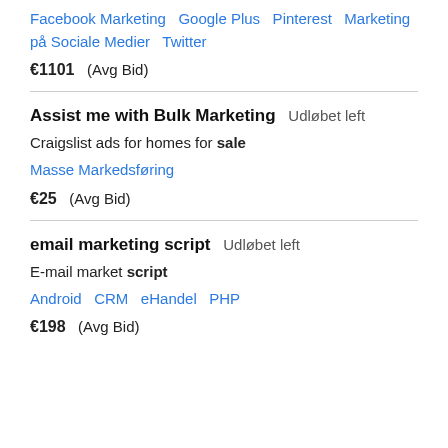Facebook Marketing   Google Plus   Pinterest   Marketing på Sociale Medier   Twitter
€1101  (Avg Bid)
Assist me with Bulk Marketing  Udløbet left
Craigslist ads for homes for sale
Masse Markedsføring
€25  (Avg Bid)
email marketing script  Udløbet left
E-mail market script
Android   CRM   eHandel   PHP
€198  (Avg Bid)